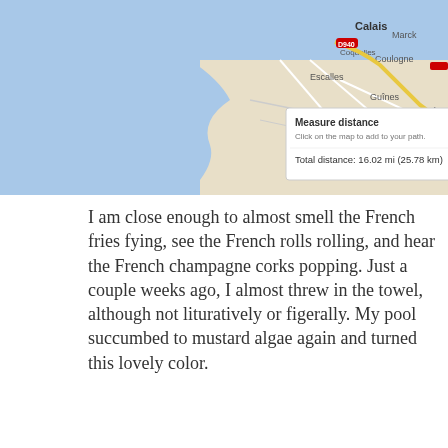[Figure (screenshot): Google Maps screenshot showing measure distance tool with total distance 16.02 mi (25.78 km) near Calais, France]
I am close enough to almost smell the French fries fying, see the French rolls rolling, and hear the French champagne corks popping. Just a couple weeks ago, I almost threw in the towel, although not lituratively or figerally. My pool succumbed to mustard algae again and turned this lovely color.
Advertisements
[Figure (screenshot): DuckDuckGo advertisement banner: Search, browse, and email with more privacy. All in One Free App]